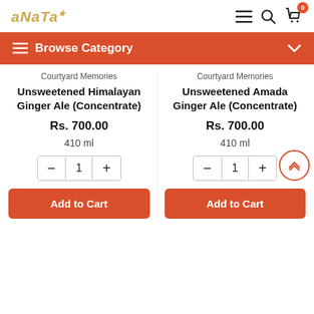ANATA — Browse Category
Courtyard Memories
Unsweetened Himalayan Ginger Ale (Concentrate)
Rs. 700.00
410 ml
Courtyard Memories
Unsweetened Amada Ginger Ale (Concentrate)
Rs. 700.00
410 ml